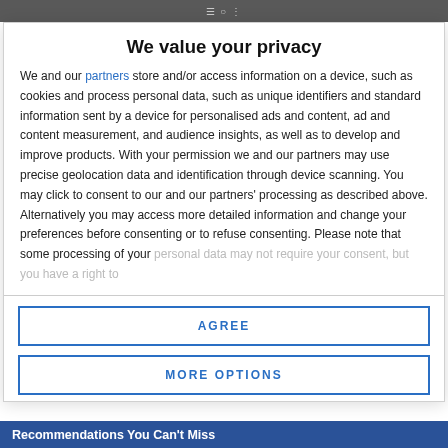We value your privacy
We and our partners store and/or access information on a device, such as cookies and process personal data, such as unique identifiers and standard information sent by a device for personalised ads and content, ad and content measurement, and audience insights, as well as to develop and improve products. With your permission we and our partners may use precise geolocation data and identification through device scanning. You may click to consent to our and our partners' processing as described above. Alternatively you may access more detailed information and change your preferences before consenting or to refuse consenting. Please note that some processing of your personal data may not require your consent, but you have a right to
AGREE
MORE OPTIONS
Recommendations You Can't Miss